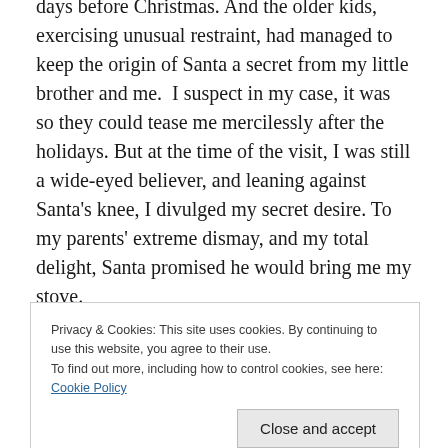days before Christmas. And the older kids, exercising unusual restraint, had managed to keep the origin of Santa a secret from my little brother and me. I suspect in my case, it was so they could tease me mercilessly after the holidays. But at the time of the visit, I was still a wide-eyed believer, and leaning against Santa’s knee, I divulged my secret desire. To my parents’ extreme dismay, and my total delight, Santa promised he would bring me my stove.
The wait seemed endless, but Christmas morning finally arrived. At approximately dawn, my siblings and I awoke on cue, and raced into the living room, buzzing with
mounds of packages, one of which was very large, gaily
Privacy & Cookies: This site uses cookies. By continuing to use this website, you agree to their use.
To find out more, including how to control cookies, see here: Cookie Policy
Close and accept